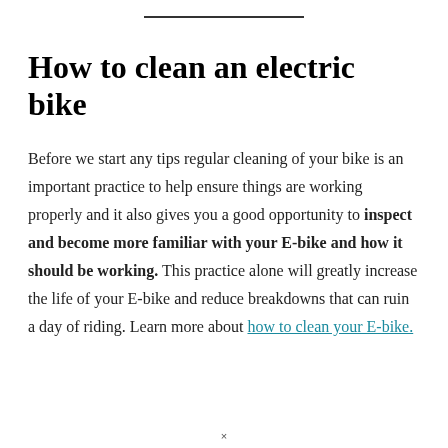How to clean an electric bike
Before we start any tips regular cleaning of your bike is an important practice to help ensure things are working properly and it also gives you a good opportunity to inspect and become more familiar with your E-bike and how it should be working. This practice alone will greatly increase the life of your E-bike and reduce breakdowns that can ruin a day of riding. Learn more about how to clean your E-bike.
×